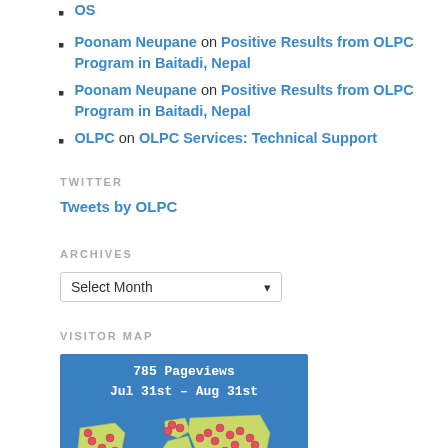OS
Poonam Neupane on Positive Results from OLPC Program in Baitadi, Nepal
Poonam Neupane on Positive Results from OLPC Program in Baitadi, Nepal
OLPC on OLPC Services: Technical Support
TWITTER
Tweets by OLPC
ARCHIVES
Select Month
VISITOR MAP
[Figure (map): World visitor map showing 785 Pageviews Jul 31st - Aug 31st with red dot markers across multiple continents on a blue background with green landmasses]